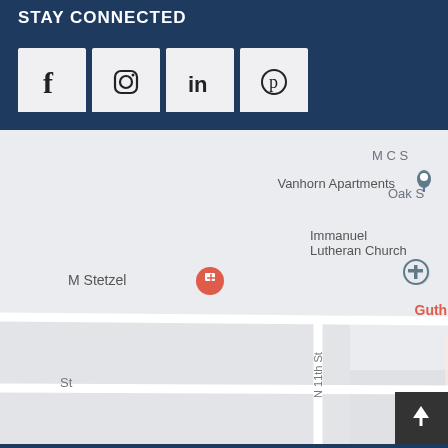STAY CONNECTED
[Figure (other): Social media icon buttons: Facebook, Instagram, LinkedIn, Pinterest]
[Figure (map): Google Maps screenshot showing Guthrie County Hospital location, with nearby landmarks: Vanhorn Apartments, Immanuel Lutheran Church, M Stetzel. Streets visible: N 11th St, N 12th St, Oak St, MC S. Hospital marker shown with H icon in red/pink.]